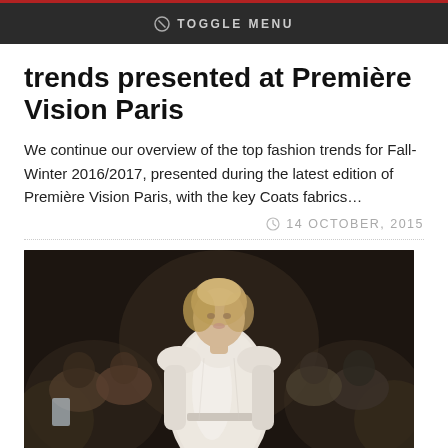TOGGLE MENU
trends presented at Première Vision Paris
We continue our overview of the top fashion trends for Fall-Winter 2016/2017, presented during the latest edition of Première Vision Paris, with the key Coats fabrics…
14 OCTOBER, 2015
[Figure (photo): Fashion runway photo showing a female model wearing a white belted coat, with blurred audience members in the background.]